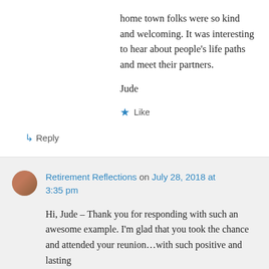home town folks were so kind and welcoming. It was interesting to hear about people's life paths and meet their partners.
Jude
★ Like
↳ Reply
Retirement Reflections on July 28, 2018 at 3:35 pm
Hi, Jude – Thank you for responding with such an awesome example. I'm glad that you took the chance and attended your reunion…with such positive and lasting